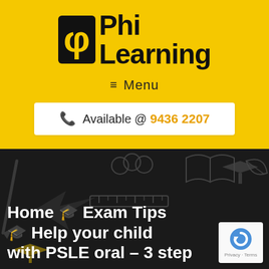[Figure (logo): Phi Learning logo with phi symbol icon and bold black text 'Phi Learning' on yellow background]
≡  Menu
Available @ 9436 2207
[Figure (illustration): Dark background with chalk-style doodle illustrations of school/education items: pencil, ruler, graduation cap, books, arrows, leaves]
Home 🎓 Exam Tips 🎓 Help your child with PSLE oral – 3 step